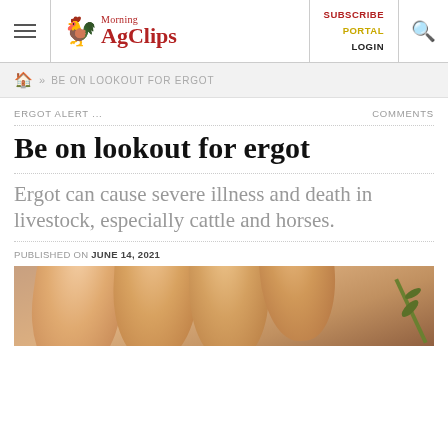Morning AgClips | SUBSCRIBE PORTAL LOGIN
» BE ON LOOKOUT FOR ERGOT
ERGOT ALERT ...
COMMENTS
Be on lookout for ergot
Ergot can cause severe illness and death in livestock, especially cattle and horses.
PUBLISHED ON JUNE 14, 2021
[Figure (photo): Close-up photo of a human hand holding what appears to be a grain stem or plant with ergot, showing fingers and a green stem]